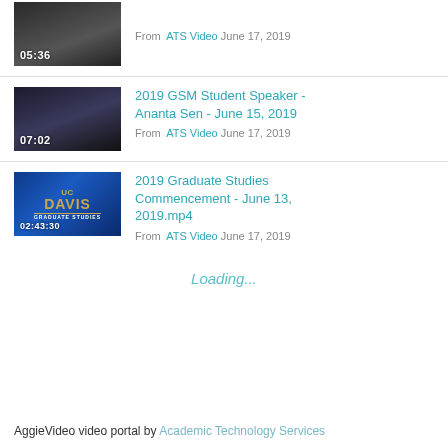[Figure (screenshot): Video thumbnail showing graduation ceremony scene with duration 05:36]
From ATS Video June 17, 2019
[Figure (screenshot): Video thumbnail showing 2019 GSM Student Speaker Ananta Sen, duration 07:02]
2019 GSM Student Speaker - Ananta Sen - June 15, 2019
From ATS Video June 17, 2019
[Figure (screenshot): UC Davis Graduate Studies video thumbnail with duration 02:43:30]
2019 Graduate Studies Commencement - June 13, 2019.mp4
From ATS Video June 17, 2019
Loading...
AggieVideo video portal by Academic Technology Services